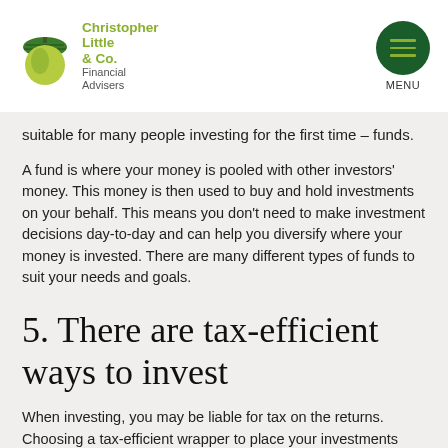Christopher Little & Co. Financial Advisers | MENU
suitable for many people investing for the first time – funds.
A fund is where your money is pooled with other investors' money. This money is then used to buy and hold investments on your behalf. This means you don't need to make investment decisions day-to-day and can help you diversify where your money is invested. There are many different types of funds to suit your needs and goals.
5. There are tax-efficient ways to invest
When investing, you may be liable for tax on the returns. Choosing a tax-efficient wrapper to place your investments